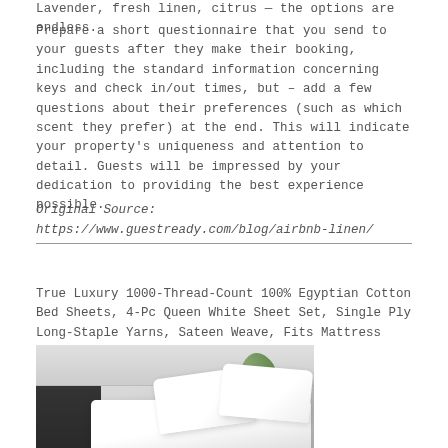Lavender, fresh linen, citrus — the options are endless.
Prepare a short questionnaire that you send to your guests after they make their booking, including the standard information concerning keys and check in/out times, but – add a few questions about their preferences (such as which scent they prefer) at the end. This will indicate your property's uniqueness and attention to detail. Guests will be impressed by your dedication to providing the best experience possible.
Original Source:
https://www.guestready.com/blog/airbnb-linen/
True Luxury 1000-Thread-Count 100% Egyptian Cotton Bed Sheets, 4-Pc Queen White Sheet Set, Single Ply Long-Staple Yarns, Sateen Weave, Fits Mattress Upto 18'' Deep Pocket
[Figure (photo): Photo of a bed with white pillows and white sheets, dark ribbed headboard panel on the left, white headboard/wall behind, and green plant visible in the upper right.]